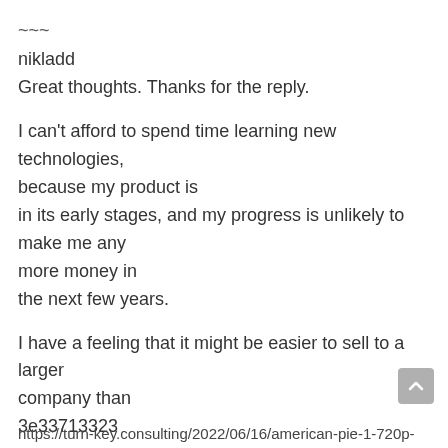~~~
nikladd
Great thoughts. Thanks for the reply.
I can't afford to spend time learning new technologies, because my product is in its early stages, and my progress is unlikely to make me any more money in the next few years.
I have a feeling that it might be easier to sell to a larger company than 3e33713323
https://turn-key.consulting/2022/06/16/american-pie-1-720p-